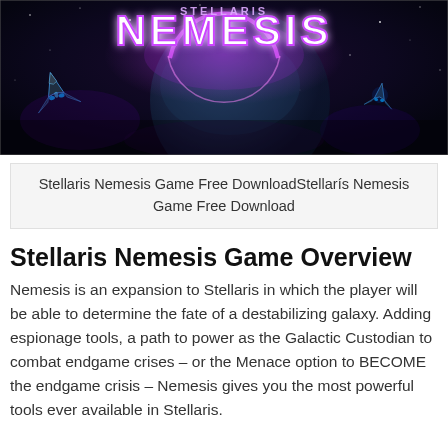[Figure (illustration): Stellaris Nemesis game banner with dark space background, spacecraft, planet, and large purple glowing 'NEMESIS' text with pink/purple crescent moon logo]
Stellaris Nemesis Game Free DownloadStellarís Nemesis Game Free Download
Stellaris Nemesis Game Overview
Nemesis is an expansion to Stellaris in which the player will be able to determine the fate of a destabilizing galaxy. Adding espionage tools, a path to power as the Galactic Custodian to combat endgame crises – or the Menace option to BECOME the endgame crisis – Nemesis gives you the most powerful tools ever available in Stellaris.